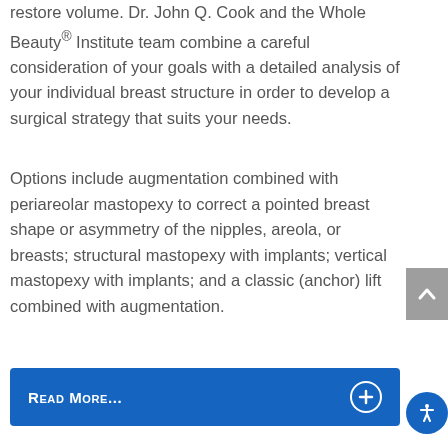restore volume. Dr. John Q. Cook and the Whole Beauty® Institute team combine a careful consideration of your goals with a detailed analysis of your individual breast structure in order to develop a surgical strategy that suits your needs.
Options include augmentation combined with periareolar mastopexy to correct a pointed breast shape or asymmetry of the nipples, areola, or breasts; structural mastopexy with implants; vertical mastopexy with implants; and a classic (anchor) lift combined with augmentation.
Read More...